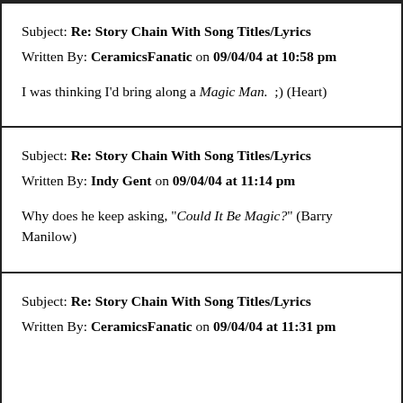Subject: Re: Story Chain With Song Titles/Lyrics
Written By: CeramicsFanatic on 09/04/04 at 10:58 pm
I was thinking I'd bring along a Magic Man. ;) (Heart)
Subject: Re: Story Chain With Song Titles/Lyrics
Written By: Indy Gent on 09/04/04 at 11:14 pm
Why does he keep asking, "Could It Be Magic?" (Barry Manilow)
Subject: Re: Story Chain With Song Titles/Lyrics
Written By: CeramicsFanatic on 09/04/04 at 11:31 pm